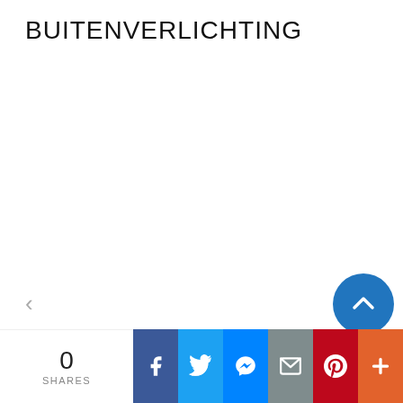BUITENVERLICHTING
[Figure (screenshot): Navigation left arrow and scroll-to-top circular blue button]
0 SHARES | Facebook | Twitter | Messenger | Email | Pinterest | More